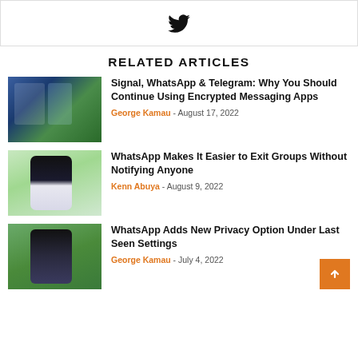[Figure (logo): Twitter bird icon in a bordered box]
RELATED ARTICLES
[Figure (photo): Phone with WhatsApp/Signal/Telegram apps, aerial landscape background]
Signal, WhatsApp & Telegram: Why You Should Continue Using Encrypted Messaging Apps
George Kamau - August 17, 2022
[Figure (photo): Phone showing WhatsApp group exit screen on green blurred background]
WhatsApp Makes It Easier to Exit Groups Without Notifying Anyone
Kenn Abuya - August 9, 2022
[Figure (photo): Phone showing WhatsApp privacy settings on green background]
WhatsApp Adds New Privacy Option Under Last Seen Settings
George Kamau - July 4, 2022